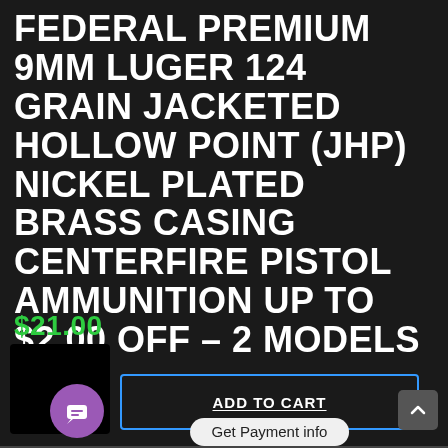FEDERAL PREMIUM 9MM LUGER 124 GRAIN JACKETED HOLLOW POINT (JHP) NICKEL PLATED BRASS CASING CENTERFIRE PISTOL AMMUNITION UP TO $2.00 OFF – 2 MODELS
$21.00
[Figure (screenshot): Add to Cart button with blue border, Get Payment info pill tooltip, thumbnail image placeholder, purple chat bubble icon, and scroll-up arrow button]